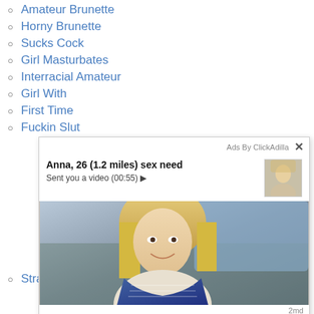Amateur Brunette
Horny Brunette
Sucks Cock
Girl Masturbates
Interracial Amateur
Girl With
First Time
Fuckin Slut
Straight Dude
[Figure (other): Ad overlay from ClickAdilla showing 'Anna, 26 (1.2 miles) sex need' with photo of blonde woman in car, sent you a video (00:55), timestamped 2md]